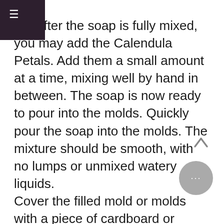☰
nd. After the soap is fully mixed, you may add the Calendula Petals. Add them a small amount at a time, mixing well by hand in between. The soap is now ready to pour into the molds. Quickly pour the soap into the molds. The mixture should be smooth, with no lumps or unmixed watery liquids. Cover the filled mold or molds with a piece of cardboard or brown freezer paper, and then cover with a towel or blanket to retain the heat in the soap mixture. Leave undisturbed for 24 to 48 hours. During this period, saponification (the process of becoming soap), is completed. With a balanced formula such as this one, all of the soap oils and all of the lye have been fully converted into soap and glycerin at this stage. Remove soap from molds after the saponification period. If using a lined larger mold, turn out onto a